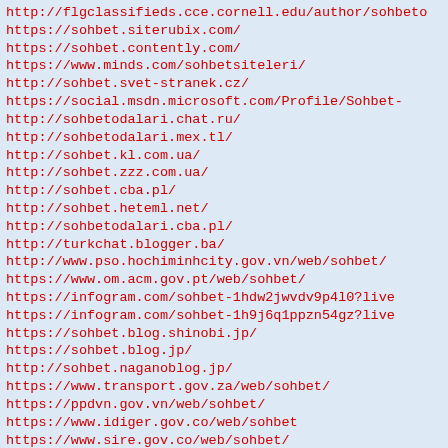&#8203;http://flgclassifieds.cce.cornell.edu/author/sohbeto
&#8203;https://sohbet.siterubix.com/
&#8203;https://sohbet.contently.com/
&#8203;https://www.minds.com/sohbetsiteleri/
&#8203;http://sohbet.svet-stranek.cz/
&#8203;https://social.msdn.microsoft.com/Profile/Sohbet-
&#8203;http://sohbetodalari.chat.ru/
&#8203;http://sohbetodalari.mex.tl/
&#8203;http://sohbet.kl.com.ua/
&#8203;http://sohbet.zzz.com.ua/
&#8203;http://sohbet.cba.pl/
&#8203;http://sohbet.heteml.net/
&#8203;http://sohbetodalari.cba.pl/
&#8203;http://turkchat.blogger.ba/
&#8203;http://www.pso.hochiminhcity.gov.vn/web/sohbet/
&#8203;https://www.om.acm.gov.pt/web/sohbet/
https://infogram.com/sohbet-1hdw2jwvdv9p4l0?live
https://infogram.com/sohbet-1h9j6q1ppzn54gz?live
&#8203;https://sohbet.blog.shinobi.jp/
&#8203;https://sohbet.blog.jp/
&#8203;http://sohbet.naganoblog.jp/
&#8203;https://www.transport.gov.za/web/sohbet/
&#8203;https://ppdvn.gov.vn/web/sohbet/
&#8203;https://www.idiger.gov.co/web/sohbet
&#8203;https://www.sire.gov.co/web/sohbet/
&#8203;http://www.skhcn.binhdinh.gov.vn/web/sohbet
&#8203;http://patronato.uabc.edu.mx/web/sohbet
&#8203;http://www.fem.seplag.pe.gov.br/web/sohbet/
&#8203;https://www.lifewatch.eu/web/sohbet
&#8203;https://justpaste.it/sohbet-odalari